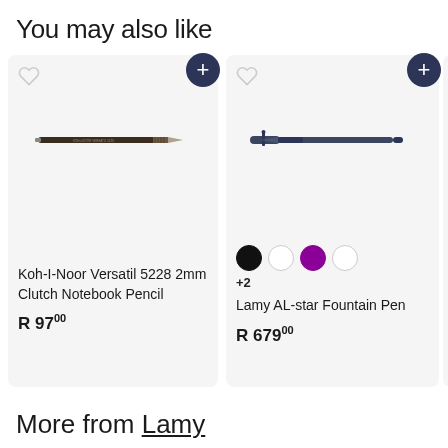You may also like
[Figure (photo): Product card for Koh-I-Noor Versatil 5228 2mm Clutch Notebook Pencil showing a black mechanical pencil, heart icon, plus button, price R 97.00]
[Figure (photo): Product card for Lamy AL-star Fountain Pen showing a dark blue pen, color swatches (black, white, purple, white), +2 more colors, price R 679.00]
[Figure (photo): Partial product card for Koh-I- product, price R 859, cut off at right edge]
More from Lamy